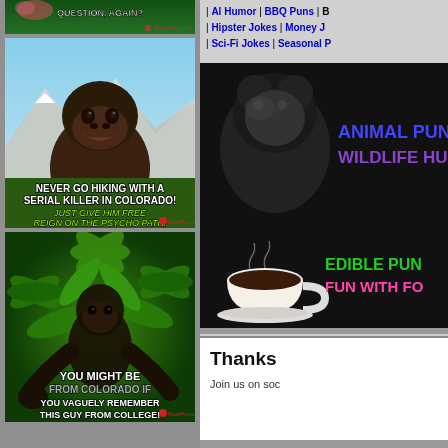[Figure (screenshot): Meme image 1: Partially visible meme at top with text 'QUESTION, AGAIN?' on green jungle background with PosterPost.com watermark]
[Figure (screenshot): Meme image 2: Gorilla in Colorado mountains with text 'NEVER GO HIKING WITH A SERIAL KILLER IN COLORADO!' and 'JUST GIVE HIM FREE REIGN ON THE PSYCHO PATH!' with PosterPost.com watermark]
[Figure (screenshot): Meme image 3: Bigfoot/gorilla among cannabis leaves with text 'YOU MIGHT BE FROM COLORADO IF' and 'YOU VAGUELY REMEMBER THIS GUY FROM COLLEGE!' with PosterPost.com watermark]
| Al Humor | BBQ Puns | B | Hipster Jokes | Money J | Sci-Fi Jokes | Seasonal P
[Figure (screenshot): Animal Puns & Wildlife Humor banner: black background with bear silhouette and text 'ANIMAL PUN WILDLIFE HUM' in blue and purple]
[Figure (screenshot): Edible Puns banner: black background with coffee cup and text 'EDIBLE PUN FUN WITH FO' in green and pink]
Thank
Join us on soc